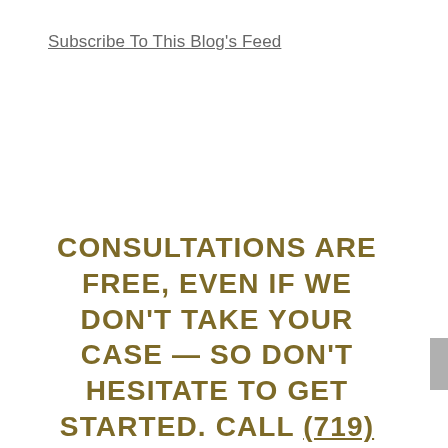Subscribe To This Blog's Feed
CONSULTATIONS ARE FREE, EVEN IF WE DON'T TAKE YOUR CASE — SO DON'T HESITATE TO GET STARTED. CALL (719) 587-1992 TODAY, OR REACH US ONLINE TO MAKE AN APPOINTMENT.